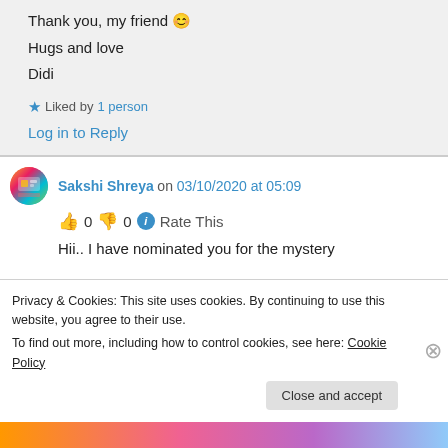Thank you, my friend 😊
Hugs and love
Didi
★ Liked by 1 person
Log in to Reply
Sakshi Shreya on 03/10/2020 at 05:09
👍 0 👎 0 ℹ Rate This
Hii.. I have nominated you for the mystery...
Privacy & Cookies: This site uses cookies. By continuing to use this website, you agree to their use.
To find out more, including how to control cookies, see here: Cookie Policy
Close and accept